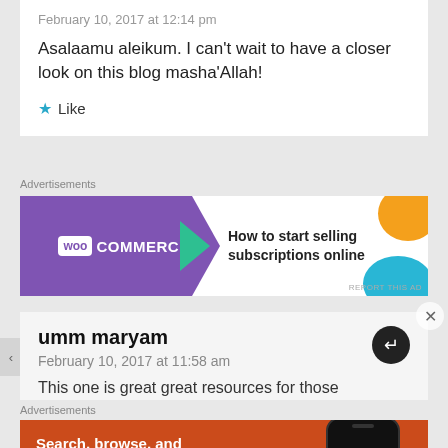February 10, 2017 at 12:14 pm
Asalaamu aleikum. I can't wait to have a closer look on this blog masha'Allah!
Like
Advertisements
[Figure (screenshot): WooCommerce advertisement banner: How to start selling subscriptions online]
umm maryam
February 10, 2017 at 11:58 am
This one is great great resources for those
Advertisements
[Figure (screenshot): DuckDuckGo advertisement: Search, browse, and email with more privacy. All in One Free App]